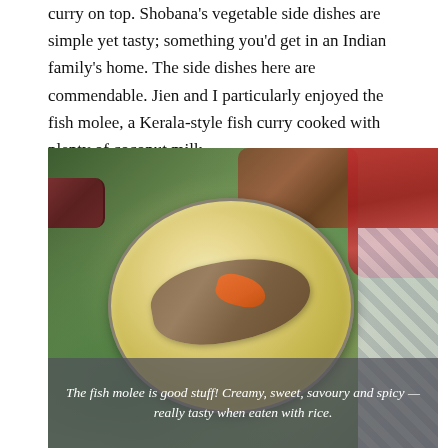curry on top. Shobana's vegetable side dishes are simple yet tasty; something you'd get in an Indian family's home. The side dishes here are commendable. Jien and I particularly enjoyed the fish molee, a Kerala-style fish curry cooked with plenty of coconut milk.
[Figure (photo): A metal plate/bowl containing fish molee (Kerala-style fish curry in creamy coconut milk sauce) served on a banana leaf. Background shows other Indian side dishes, a red chilli garnish top right, a small bowl top left, and a decorative cloth on the right side.]
The fish molee is good stuff! Creamy, sweet, savoury and spicy — really tasty when eaten with rice.